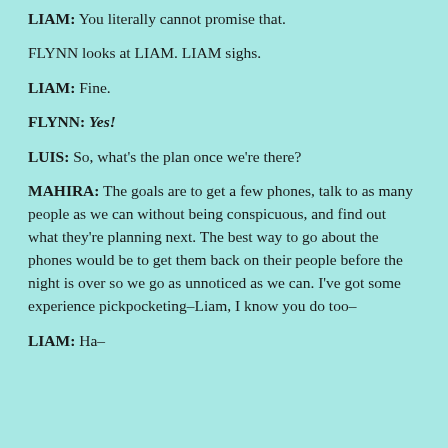LIAM: You literally cannot promise that.
FLYNN looks at LIAM. LIAM sighs.
LIAM: Fine.
FLYNN: Yes!
LUIS: So, what's the plan once we're there?
MAHIRA: The goals are to get a few phones, talk to as many people as we can without being conspicuous, and find out what they're planning next. The best way to go about the phones would be to get them back on their people before the night is over so we go as unnoticed as we can. I've got some experience pickpocketing–Liam, I know you do too–
LIAM: Ha–